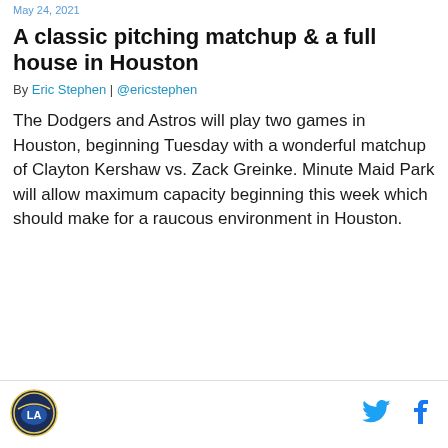May 24, 2021
A classic pitching matchup & a full house in Houston
By Eric Stephen | @ericstephen
The Dodgers and Astros will play two games in Houston, beginning Tuesday with a wonderful matchup of Clayton Kershaw vs. Zack Greinke. Minute Maid Park will allow maximum capacity beginning this week which should make for a raucous environment in Houston.